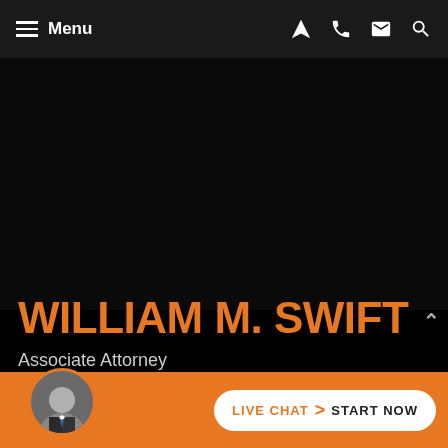Menu
WILLIAM M. SWIFT
Associate Attorney
About William M. Swift is an associate attorney at the Law Office of James L. Riotto and brings 20 years of experience to our clients. His practice focuses on personal injury cases and criminal matters. He has successfully represented individuals in felony and misdemeanor cases. Additionally, he has extensive
[Figure (screenshot): Live chat button with attorney avatar at bottom of page]